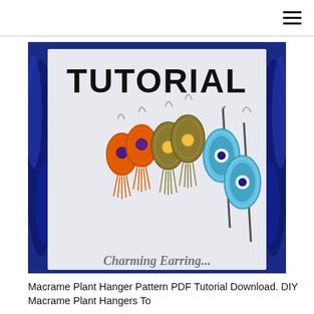[Figure (photo): Tutorial promotional image showing macrame earrings — orange earrings with tassels, olive/gold macrame drop earrings, and blue evil eye earrings on hair pins, with the word TUTORIAL in bold black text at the top, on a blue and white painted background]
Macrame Plant Hanger Pattern PDF Tutorial Download. DIY Macrame Plant Hangers To